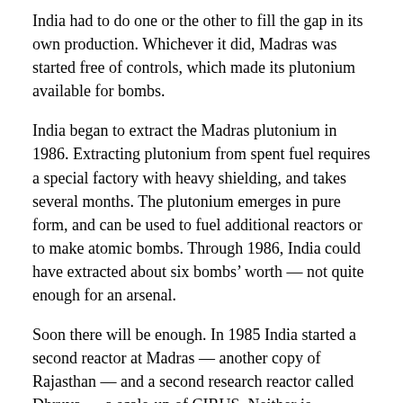India had to do one or the other to fill the gap in its own production. Whichever it did, Madras was started free of controls, which made its plutonium available for bombs.
India began to extract the Madras plutonium in 1986. Extracting plutonium from spent fuel requires a special factory with heavy shielding, and takes several months. The plutonium emerges in pure form, and can be used to fuel additional reactors or to make atomic bombs. Through 1986, India could have extracted about six bombs' worth — not quite enough for an arsenal.
Soon there will be enough. In 1985 India started a second reactor at Madras — another copy of Rajasthan — and a second research reactor called Dhruva — a scale-up of CIRUS. Neither is restricted. Together with the first reactor at Madras, they make enough plutonium for about 15 bombs per year. But they all require heavy water. India's heavy-water shortage in 1985 was even worse than in 1983;[15] therefore,